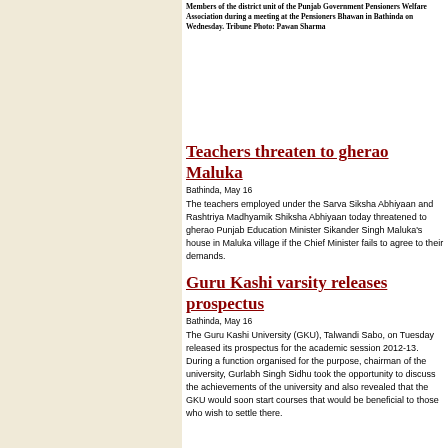Members of the district unit of the Punjab Government Pensioners Welfare Association during a meeting at the Pensioners Bhawan in Bathinda on Wednesday. Tribune Photo: Pawan Sharma
Teachers threaten to gherao Maluka
Bathinda, May 16
The teachers employed under the Sarva Siksha Abhiyaan and Rashtriya Madhyamik Shiksha Abhiyaan today threatened to gherao Punjab Education Minister Sikander Singh Maluka's house in Maluka village if the Chief Minister fails to agree to their demands.
Guru Kashi varsity releases prospectus
Bathinda, May 16
The Guru Kashi University (GKU), Talwandi Sabo, on Tuesday released its prospectus for the academic session 2012-13. During a function organised for the purpose, chairman of the university, Gurlabh Singh Sidhu took the opportunity to discuss the achievements of the university and also revealed that the GKU would soon start courses that would be beneficial to those who wish to settle there.